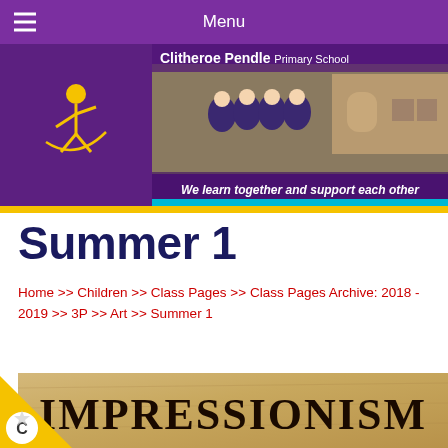Menu
[Figure (photo): Clitheroe Pendle Primary School banner with school logo, children sitting outside school building, tagline: We learn together and support each other]
Summer 1
Home >> Children >> Class Pages >> Class Pages Archive: 2018 - 2019 >> 3P >> Art >> Summer 1
[Figure (illustration): Impressionism text banner on a tan/parchment background with decorative font]